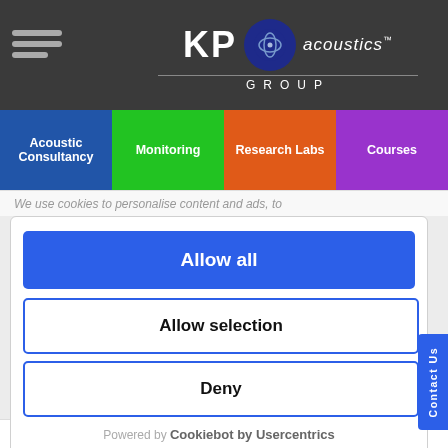Acoustics - with this restructuring
[Figure (logo): KP Acoustics Group logo with blue circle icon on dark grey header background]
Acoustic Consultancy | Monitoring | Research Labs | Courses
We use cookies to personalise content and ads, to
Allow all
Allow selection
Deny
Powered by Cookiebot by Usercentrics
Contact Us
monitoring division will soon have